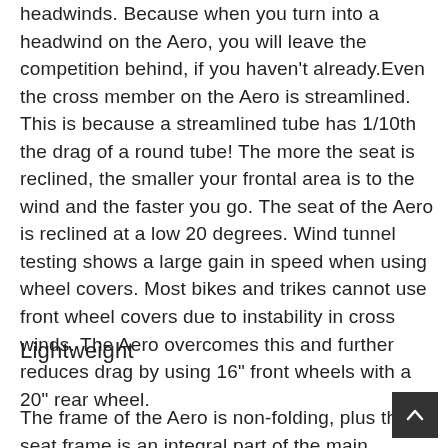headwinds. Because when you turn into a headwind on the Aero, you will leave the competition behind, if you haven't already.Even the cross member on the Aero is streamlined. This is because a streamlined tube has 1/10th the drag of a round tube! The more the seat is reclined, the smaller your frontal area is to the wind and the faster you go. The seat of the Aero is reclined at a low 20 degrees. Wind tunnel testing shows a large gain in speed when using wheel covers. Most bikes and trikes cannot use front wheel covers due to instability in cross winds. The Aero overcomes this and further reduces drag by using 16" front wheels with a 20" rear wheel.
Lightweight
The frame of the Aero is non-folding, plus the seat frame is an integral part of the main frame...